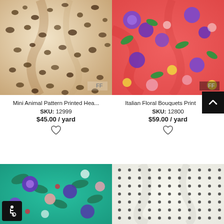[Figure (photo): Close-up of mini animal/leopard pattern printed heavy fabric in beige and brown tones]
[Figure (photo): Close-up of Italian floral bouquets printed fabric in coral/red with purple, green, yellow flowers]
Mini Animal Pattern Printed Hea...
SKU: 12999
$45.00 / yard
Italian Floral Bouquets Print
SKU: 12800
$59.00 / yard
[Figure (photo): Close-up of Italian floral print fabric in teal/green with purple, blue, pink, red flowers]
[Figure (photo): Close-up of white fabric with small black polka dots pattern]